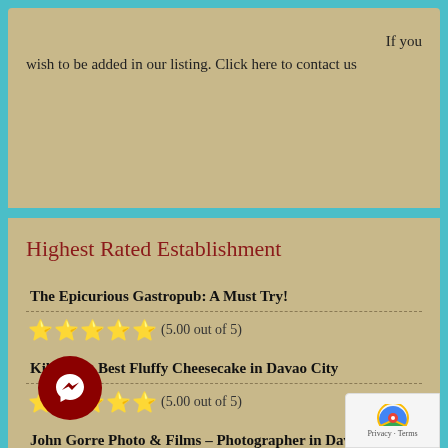If you wish to be added in our listing. Click here to contact us
Highest Rated Establishment
The Epicurious Gastropub: A Must Try! — ★★★★★ (5.00 out of 5)
Kikokeki: Best Fluffy Cheesecake in Davao City — ★★★★★ (5.00 out of 5)
John Gorre Photo & Films – Photographer in Davao — ★★★★★ (5.00 out of 5)
Forward Pest Control – Pest Control Services in Davao City, Philippines — ★★★★★ (5.00 out of 5)